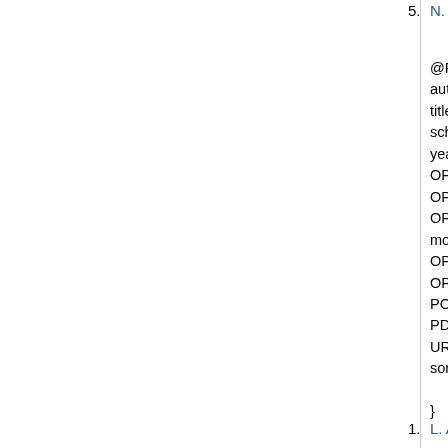5. N. Morales. Algorithmique des rés...
@PhdThesis{Mor07,
author = {N. Morales},
title = {Algorithmique des r\'eseaux d...
school = {\'Ecole doctorale STIC, Un...
year = {2007},
OPTkey = {},
OPTtype = {},
OPTaddress = {},
month = {26 Janvier},
OPTnote = {},
OPTannote = {},
POSTSCRIPT = {},
PDF = {ftp://ftp-sop.inria.fr/mascotte...
URL = {},
sorte = "these",

}
1. L. Addario-Berry, K. Dalal, C. McDia...